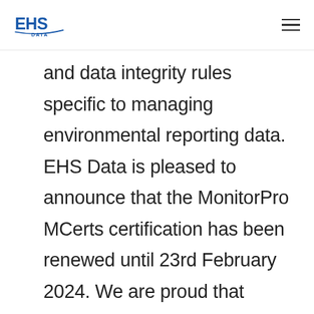EHS Data
and data integrity rules specific to managing environmental reporting data. EHS Data is pleased to announce that the MonitorPro MCerts certification has been renewed until 23rd February 2024. We are proud that MonitorPro was the first complete environmental